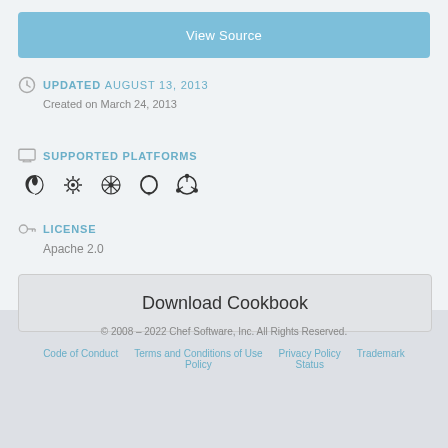View Source
UPDATED AUGUST 13, 2013
Created on March 24, 2013
SUPPORTED PLATFORMS
[Figure (other): Platform icons: Debian, FreeBSD, CentOS/other, SmartOS, Ubuntu]
LICENSE
Apache 2.0
Download Cookbook
© 2008 – 2022 Chef Software, Inc. All Rights Reserved.
Code of Conduct   Terms and Conditions of Use Policy   Privacy Policy   Status   Trademark